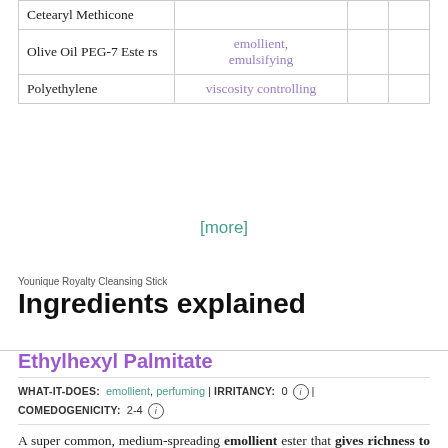| Ingredient | Function |  |  |
| --- | --- | --- | --- |
| Cetearyl Methicone |  |  |  |
| Olive Oil PEG-7 Esters | emollient, emulsifying |  |  |
| Polyethylene | viscosity controlling |  |  |
[more]
Younique Royalty Cleansing Stick
Ingredients explained
Ethylhexyl Palmitate
WHAT-IT-DOES: emollient, perfuming | IRRITANCY: 0 (i) | COMEDOGENICITY: 2-4 (i)
A super common, medium-spreading emollient ester that gives richness to the formula and a mild feel during rubout. It can be a replacement for mineral oil and is often combined with other emollients to achieve different sensorial properties.